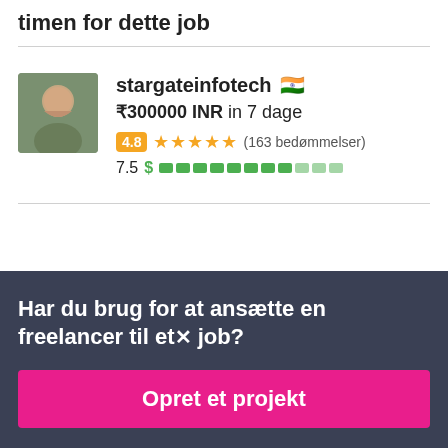timen for dette job
stargateinfotech 🇮🇳
₹300000 INR in 7 dage
4.8 ★★★★★ (163 bedømmelser)
7.5 $ [progress bar]
Har du brug for at ansætte en freelancer til et job?
Opret et projekt